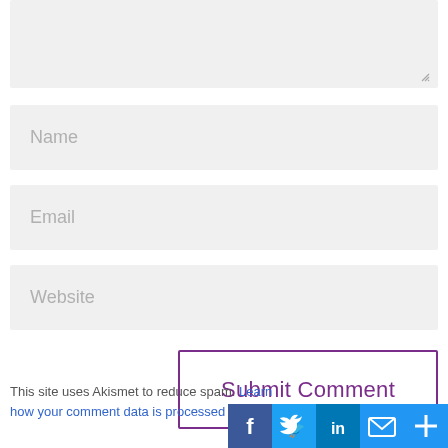[Figure (screenshot): Textarea input box (greyed out, partially visible at top of page) with resize handle at bottom-right]
Name
Email
Website
Submit Comment
This site uses Akismet to reduce spam. Learn how your comment data is processed
[Figure (infographic): Social sharing icons: Facebook (blue), Twitter (blue), LinkedIn (teal), Email (blue), More/Plus (blue)]